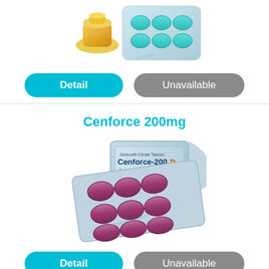[Figure (photo): Top portion of a blister pack of blue/teal tablets with www.kamagra4europe.to watermark]
Detail
Unavailable
Cenforce 200mg
[Figure (photo): Cenforce-200 blister pack of dark pink/maroon tablets labeled Sildenafil Citrate Tablets Cenforce-200, with www.kamagra4europe.to watermark]
Detail
Unavailable